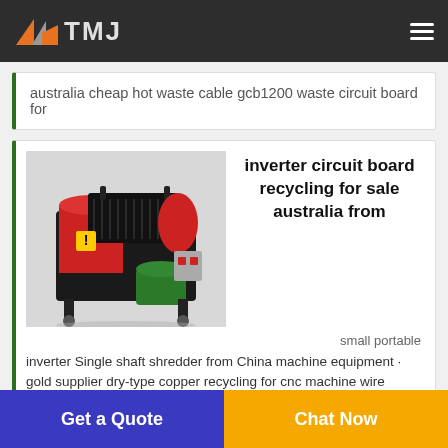[Figure (logo): TMJ company logo with orange and grey arrow shapes and TMJ text in dark letters on dark header background]
australia cheap hot waste cable gcb1200 waste circuit board for
[Figure (photo): Red and black industrial wire stripping / recycling machine with motor on wheels, standing on grey floor]
inverter circuit board recycling for sale australia from
small portable
inverter Single shaft shredder from China machine equipment · gold supplier dry-type copper recycling for cnc machine wire
Get a Quote
Chat Now